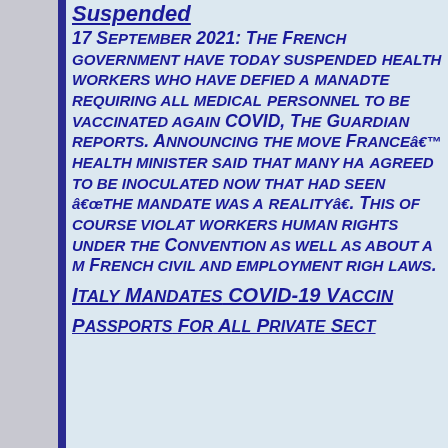Suspended
17 September 2021: The French government have today suspended health workers who have defied a manadte requiring all medical personnel to be vaccinated against COVID, The Guardian reports. Announcing the move France’s health minister said that many have agreed to be inoculated now that had seen “the mandate was a reality”. This of course violates workers human rights under the Convention as well as about a million French civil and employment rights laws.
Italy Mandates COVID-19 Vaccine Passports For All Private Secto...